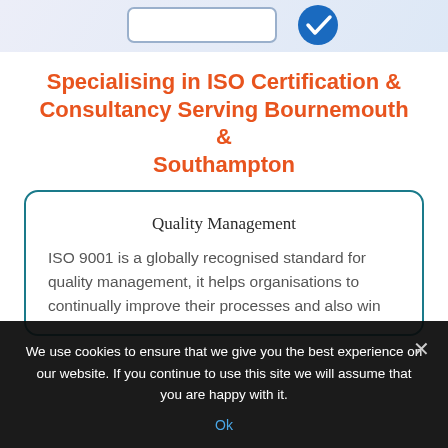[Figure (screenshot): Top banner with a rounded rectangle input box and a blue circular checkmark icon on a light lavender/blue gradient background]
Specialising in ISO Certification & Consultancy Serving Bournemouth & Southampton
Quality Management
ISO 9001 is a globally recognised standard for quality management, it helps organisations to continually improve their processes and also win
We use cookies to ensure that we give you the best experience on our website. If you continue to use this site we will assume that you are happy with it.
Ok